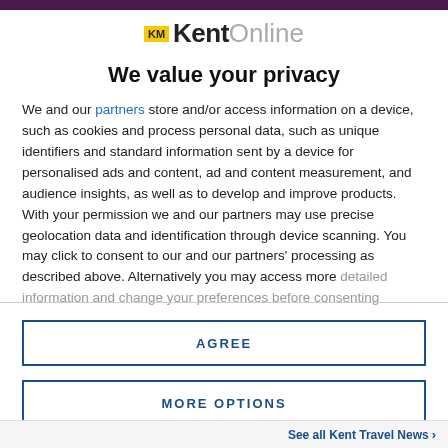[Figure (logo): KM KentOnline logo with yellow KM badge followed by bold 'Kent' and grey 'Online' text]
We value your privacy
We and our partners store and/or access information on a device, such as cookies and process personal data, such as unique identifiers and standard information sent by a device for personalised ads and content, ad and content measurement, and audience insights, as well as to develop and improve products. With your permission we and our partners may use precise geolocation data and identification through device scanning. You may click to consent to our and our partners' processing as described above. Alternatively you may access more detailed information and change your preferences before consenting
AGREE
MORE OPTIONS
See all Kent Travel News →